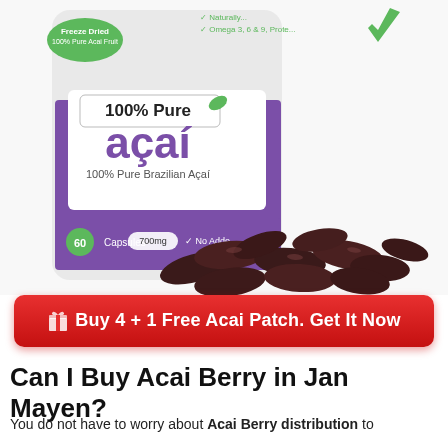[Figure (photo): Product photo of '100% Pure Açai' supplement bottle (60 Capsules, 700mg) with dark açai berry capsules scattered in front on a white background.]
Buy 4 + 1 Free Acai Patch. Get It Now
Can I Buy Acai Berry in Jan Mayen?
You do not have to worry about Acai Berry distribution to